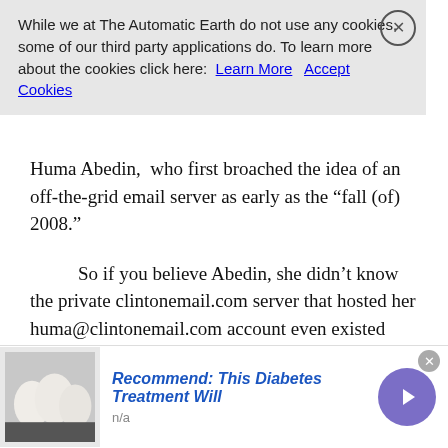While we at The Automatic Earth do not use any cookies, some of our third party applications do. To learn more about the cookies click here: Learn More  Accept Cookies
Huma Abedin,  who first broached the idea of an off-the-grid email server as early as the “fall (of) 2008.”
So if you believe Abedin, she didn’t know the private clintonemail.com server that hosted her huma@clintonemail.com account even existed until she heard about it in the news. Comey was a believer; he didn’t even bother to call her back for further questioning. Case closed.
Yes, Huma knew the server existed, long before she admitted knowing it. That’s a bold faced lie. But wait, didn’t she get immunity? Apparently perhaps not officially (?!), but FBI agents seriously suspect she did:
During research, FBI assets and federal law enforcement sources
[Figure (photo): Advertisement thumbnail showing white eggs on a dark surface]
Recommend: This Diabetes Treatment Will
n/a